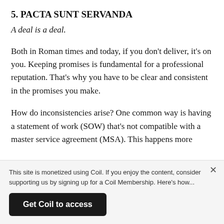5. PACTA SUNT SERVANDA
A deal is a deal.
Both in Roman times and today, if you don't deliver, it's on you. Keeping promises is fundamental for a professional reputation. That's why you have to be clear and consistent in the promises you make.
How do inconsistencies arise? One common way is having a statement of work (SOW) that's not compatible with a master service agreement (MSA). This happens more
This site is monetized using Coil. If you enjoy the content, consider supporting us by signing up for a Coil Membership. Here's how...
Get Coil to access